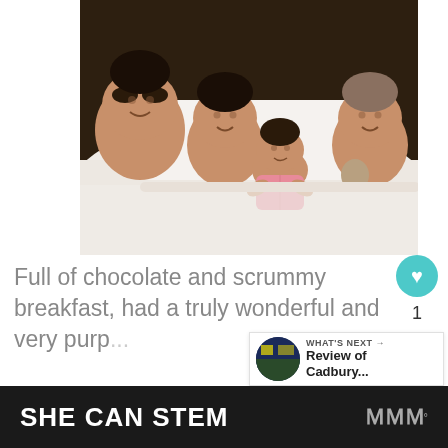[Figure (photo): Photo of four children (three boys and a baby girl) lying together in bed under white sheets, smiling at the camera. The oldest is on the left, then two younger boys, a baby in pink in the middle, and another boy on the right.]
Full of chocolate and scrummy breakfast, had a truly wonderful and very purp...
[Figure (other): What's Next overlay card showing a thumbnail and text 'Review of Cadbury...']
SHE CAN STEM